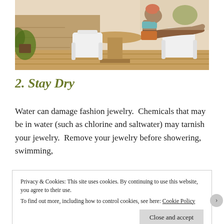[Figure (photo): Woman in blue bikini top and orange pants sitting on a white plastic chair outdoors with feet up on another chair, white table visible, plants and stone wall in background]
2. Stay Dry
Water can damage fashion jewelry. Chemicals that may be in water (such as chlorine and saltwater) may tarnish your jewelry. Remove your jewelry before showering, swimming,
Privacy & Cookies: This site uses cookies. By continuing to use this website, you agree to their use.
To find out more, including how to control cookies, see here: Cookie Policy
Close and accept